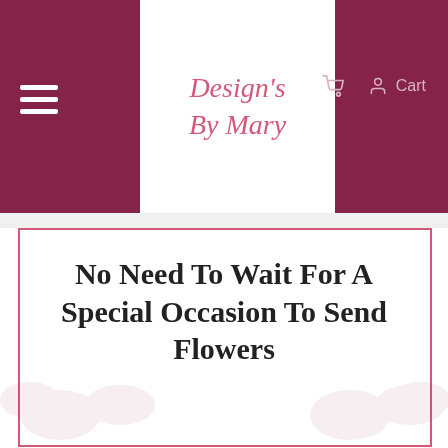Design's By Mary | Cart
No Need To Wait For A Special Occasion To Send Flowers